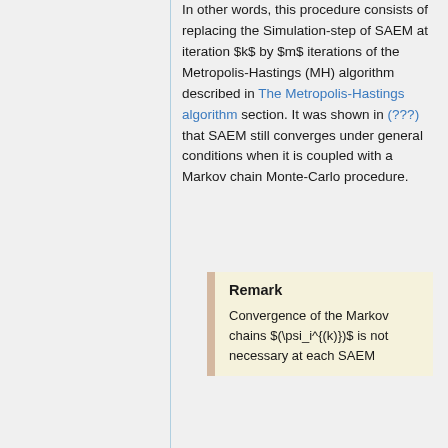In other words, this procedure consists of replacing the Simulation-step of SAEM at iteration $k$ by $m$ iterations of the Metropolis-Hastings (MH) algorithm described in The Metropolis-Hastings algorithm section. It was shown in (???) that SAEM still converges under general conditions when it is coupled with a Markov chain Monte-Carlo procedure.
Remark
Convergence of the Markov chains $(\psi_i^{(k)})$ is not necessary at each SAEM